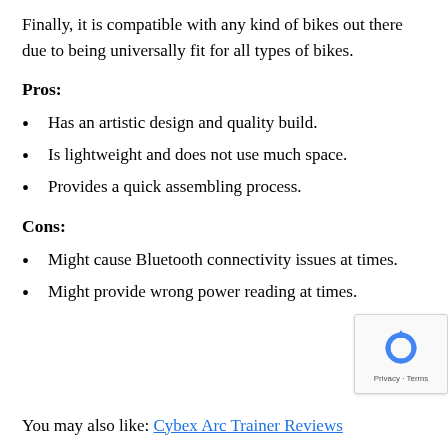Finally, it is compatible with any kind of bikes out there due to being universally fit for all types of bikes.
Pros:
Has an artistic design and quality build.
Is lightweight and does not use much space.
Provides a quick assembling process.
Cons:
Might cause Bluetooth connectivity issues at times.
Might provide wrong power reading at times.
You may also like: Cybex Arc Trainer Reviews